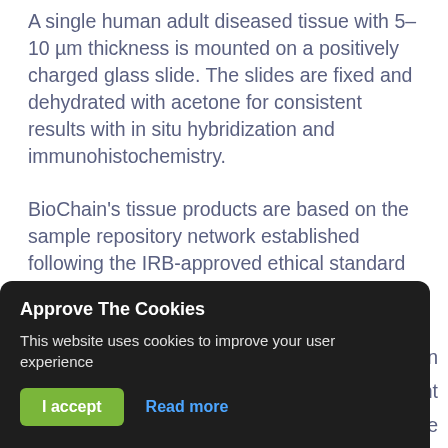A single human adult diseased tissue with 5–10 µm thickness is mounted on a positively charged glass slide. The slides are fixed and dehydrated with acetone for consistent results with in situ hybridization and immunohistochemistry.
BioChain's tissue products are based on the sample repository network established following the IRB-approved ethical standard and procedures. The repository covers a wide variety of species and diseases, including human adult normal tissues, human diseased and tumor tissues, as well as mouse, rat, and monkey tissues. The tissues are immediately
[partially visible] en ... nt ... e
Approve The Cookies
This website uses cookies to improve your user experience
I accept
Read more